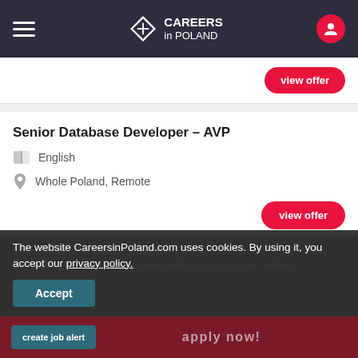CAREERS in POLAND
view offer
Senior Database Developer – AVP
English
Whole Poland, Remote
view offer
Do you want to be always up to date?
Get notified about interesting similar offers directly to your mailbox!
The website CareersinPoland.com uses cookies. By using it, you accept our privacy policy.
Accept
create job alert
apply now!